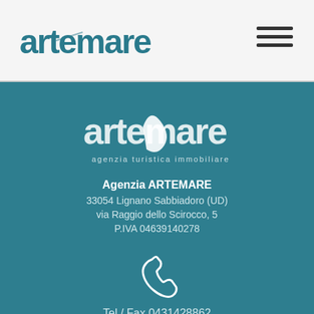artemare logo and navigation header
[Figure (logo): Artemare agency logo with teal text showing 'artemare' and 'agenzia turistica immobiliare']
Agenzia ARTEMARE
33054 Lignano Sabbiadoro (UD)
via Raggio dello Scirocco, 5
P.IVA 04639140278
[Figure (illustration): White telephone/phone handset icon]
Tel / Fax 0431428862